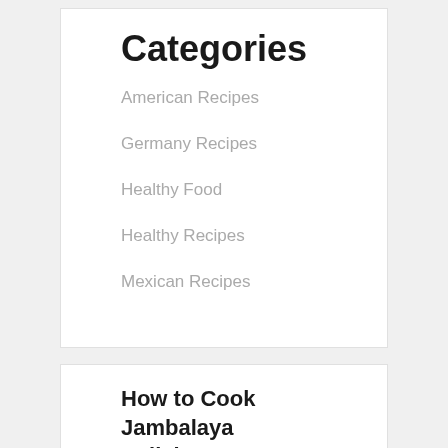Categories
American Recipes
Germany Recipes
Healthy Food
Healthy Recipes
Mexican Recipes
How to Cook Jambalaya Delicious
Yummy Jambalaya In 18 minutes Jambalaya for Mom – Jambalaya // dzmbalaya / JAMbaJYa / dza /